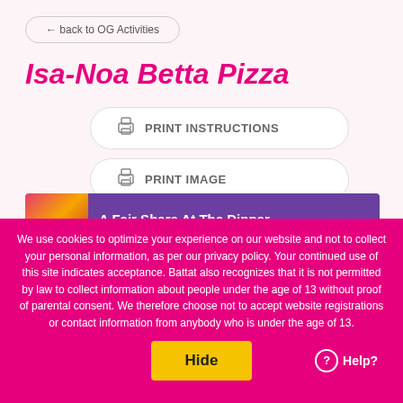← back to OG Activities
Isa-Noa Betta Pizza
PRINT INSTRUCTIONS
PRINT IMAGE
[Figure (screenshot): Preview strip showing a colorful book cover image on the left and a purple banner with text 'A Fair Share At The Dinner' on the right]
We use cookies to optimize your experience on our website and not to collect your personal information, as per our privacy policy. Your continued use of this site indicates acceptance. Battat also recognizes that it is not permitted by law to collect information about people under the age of 13 without proof of parental consent. We therefore choose not to accept website registrations or contact information from anybody who is under the age of 13.
Hide
Help?